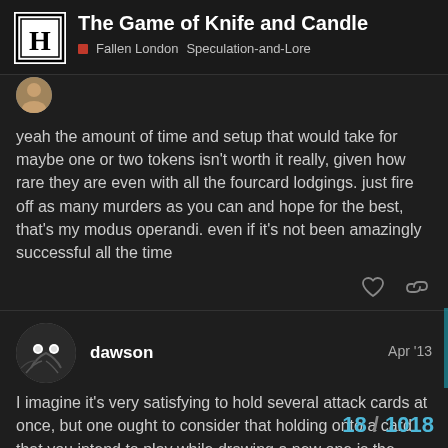The Game of Knife and Candle — Fallen London · Speculation-and-Lore
yeah the amount of time and setup that would take for maybe one or two tokens isn't worth it really, given how rare they are even with all the fourcard lodgings. just fire off as many murders as you can and hope for the best, that's my modus operandi. even if it's not been amazingly successful all the time
dawson — Apr '13
I imagine it's very satisfying to hold several attack cards at once, but one ought to consider that holding onto a card that you intend to play while drawing a new one is the same as wasting a use of that card. Several times I've used an attack card and re-drawn it a few minutes later.
Also: this business of changing to the Nigh
18 / 1018